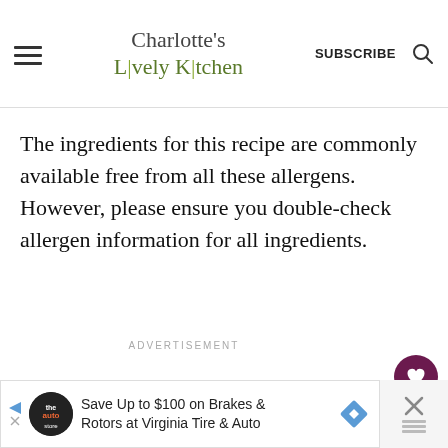Charlotte's Lively Kitchen | SUBSCRIBE
The ingredients for this recipe are commonly available free from all these allergens. However, please ensure you double-check allergen information for all ingredients.
ADVERTISEMENT
[Figure (infographic): Advertisement banner for Virginia Tire & Auto: Save Up to $100 on Brakes & Rotors at Virginia Tire & Auto]